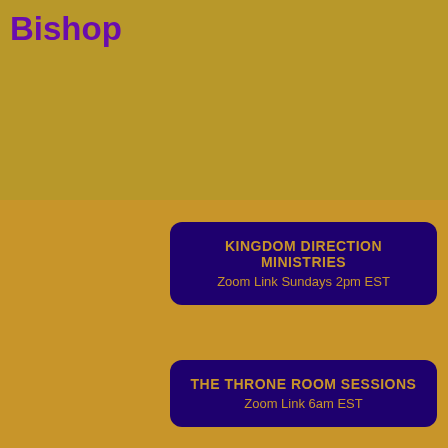Bishop
KINGDOM DIRECTION MINISTRIES
Zoom Link Sundays 2pm EST
THE THRONE ROOM SESSIONS
Zoom Link 6am EST
[Figure (infographic): Row of five social media icon circles: Facebook (blue), Twitter (light blue), Instagram (black), Email (red-orange), YouTube (red)]
Aposto
KINGDOM DIRECTION MINISTRIES